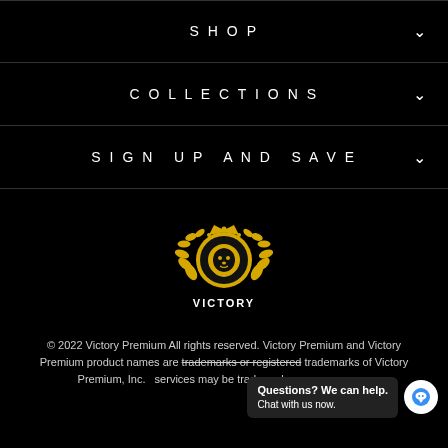SHOP
COLLECTIONS
SIGN UP AND SAVE
[Figure (logo): Victory Premium logo: gold lion head with crown and laurel wreath, with VICTORY text below]
© 2022 Victory Premium All rights reserved. Victory Premium and Victory Premium product names are trademarks or registered trademarks of Victory Premium, Inc. services may be trademarks or serv owners.
Questions? We can help. Chat with us now.